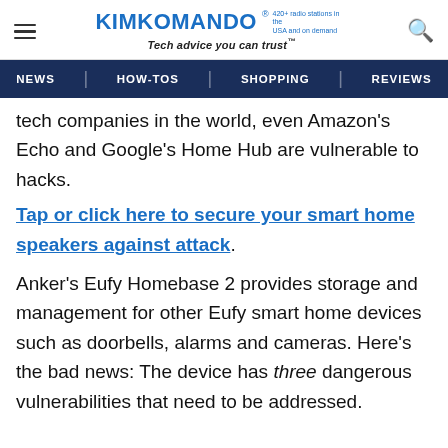KIMKOMANDO® 420+ radio stations in the USA and on demand Tech advice you can trust™
NEWS | HOW-TOS | SHOPPING | REVIEWS
tech companies in the world, even Amazon's Echo and Google's Home Hub are vulnerable to hacks. Tap or click here to secure your smart home speakers against attack.
Anker's Eufy Homebase 2 provides storage and management for other Eufy smart home devices such as doorbells, alarms and cameras. Here's the bad news: The device has three dangerous vulnerabilities that need to be addressed.